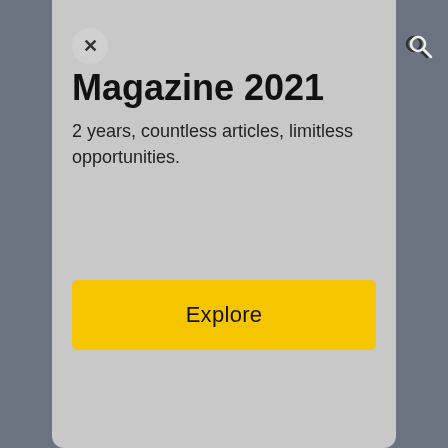Magazine 2021
2 years, countless articles, limitless opportunities.
Explore